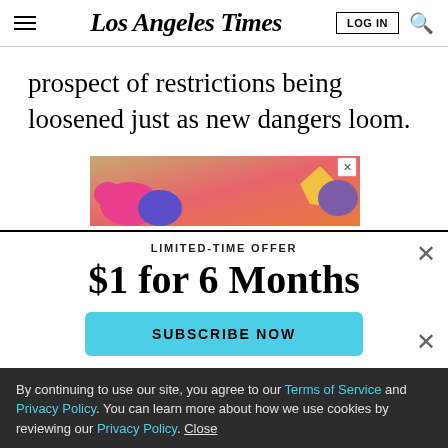Los Angeles Times
prospect of restrictions being loosened just as new dangers loom.
[Figure (illustration): Colorful advertisement banner with stylized fruit/food illustration on gradient background]
LIMITED-TIME OFFER
$1 for 6 Months
SUBSCRIBE NOW
By continuing to use our site, you agree to our Terms of Service and Privacy Policy. You can learn more about how we use cookies by reviewing our Privacy Policy. Close